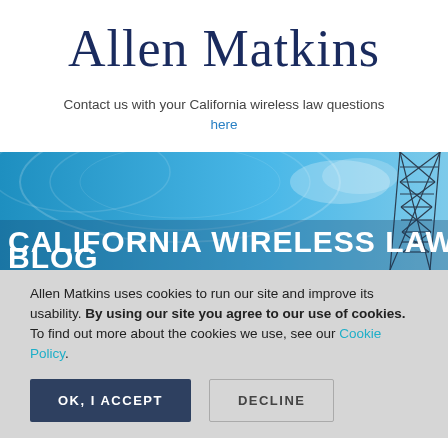Allen Matkins
Contact us with your California wireless law questions here
[Figure (illustration): Blue banner image with wireless towers and sky background showing 'CALIFORNIA WIRELESS LAW BLOG' text]
Allen Matkins uses cookies to run our site and improve its usability. By using our site you agree to our use of cookies. To find out more about the cookies we use, see our Cookie Policy.
OK, I ACCEPT   DECLINE